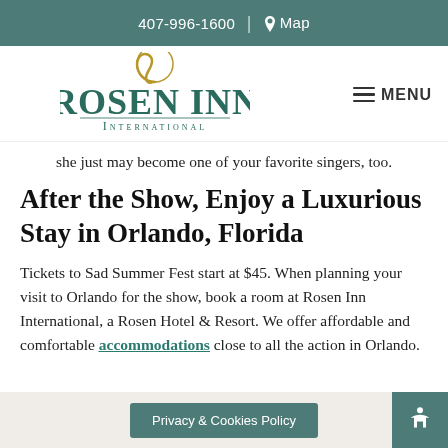407-996-1600 | Map
[Figure (logo): Rosen Inn International logo with stylized arch and serif wordmark]
she just may become one of your favorite singers, too.
After the Show, Enjoy a Luxurious Stay in Orlando, Florida
Tickets to Sad Summer Fest start at $45. When planning your visit to Orlando for the show, book a room at Rosen Inn International, a Rosen Hotel & Resort. We offer affordable and comfortable accommodations close to all the action in Orlando.
Privacy & Cookies Policy